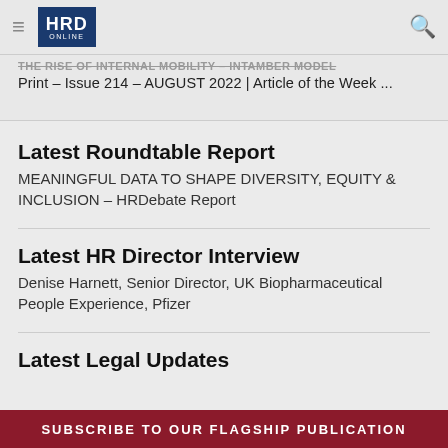HRD ONLINE
THE RISE OF INTERNAL MOBILITY – INTAMBER MODEL Print – Issue 214 – AUGUST 2022 | Article of the Week ...
Latest Roundtable Report
MEANINGFUL DATA TO SHAPE DIVERSITY, EQUITY & INCLUSION – HRDebate Report
Latest HR Director Interview
Denise Harnett, Senior Director, UK Biopharmaceutical People Experience, Pfizer
Latest Legal Updates
SUBSCRIBE TO OUR FLAGSHIP PUBLICATION